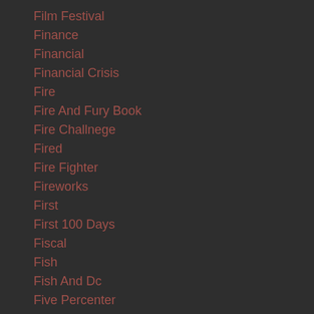Film Festival
Finance
Financial
Financial Crisis
Fire
Fire And Fury Book
Fire Challnege
Fired
Fire Fighter
Fireworks
First
First 100 Days
Fiscal
Fish
Fish And Dc
Five Percenter
Flat Earth
Float
Florida
Florissant